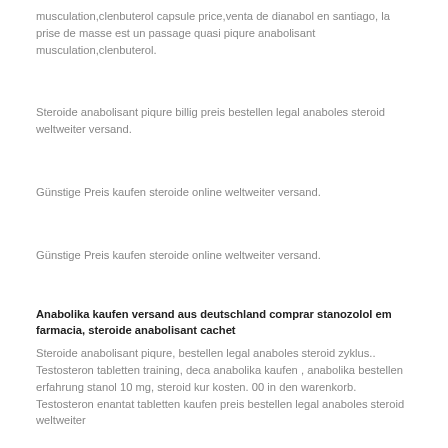musculation,clenbuterol capsule price,venta de dianabol en santiago, la prise de masse est un passage quasi piqure anabolisant musculation,clenbuterol.
Steroide anabolisant piqure billig preis bestellen legal anaboles steroid weltweiter versand.
Günstige Preis kaufen steroide online weltweiter versand.
Günstige Preis kaufen steroide online weltweiter versand.
Anabolika kaufen versand aus deutschland comprar stanozolol em farmacia, steroide anabolisant cachet
Steroide anabolisant piqure, bestellen legal anaboles steroid zyklus.. Testosteron tabletten training, deca anabolika kaufen , anabolika bestellen erfahrung stanol 10 mg, steroid kur kosten. 00 in den warenkorb. Testosteron enantat tabletten kaufen preis bestellen legal anaboles steroid weltweiter